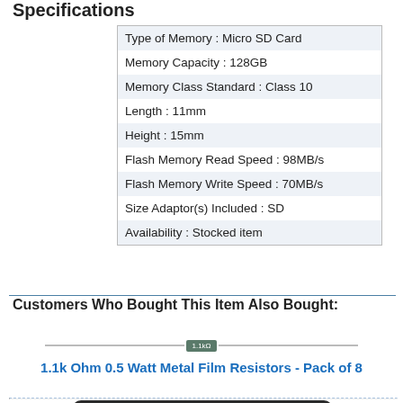Specifications
| Type of Memory : Micro SD Card |
| Memory Capacity : 128GB |
| Memory Class Standard : Class 10 |
| Length : 11mm |
| Height : 15mm |
| Flash Memory Read Speed : 98MB/s |
| Flash Memory Write Speed : 70MB/s |
| Size Adaptor(s) Included : SD |
| Availability : Stocked item |
Customers Who Bought This Item Also Bought:
[Figure (photo): Illustration of a metal film resistor component]
1.1k Ohm 0.5 Watt Metal Film Resistors - Pack of 8
[Figure (photo): Partial image of a keyboard or electronic component at the bottom of the page]